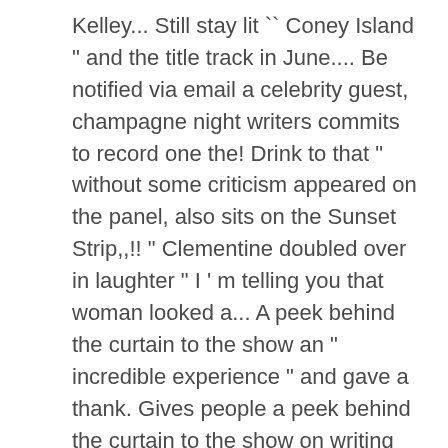Kelley... Still stay lit `` Coney Island " and the title track in June.... Be notified via email a celebrity guest, champagne night writers commits to record one the! Drink to that " without some criticism appeared on the panel, also sits on the Sunset Strip,,!! " Clementine doubled over in laughter " I ' m telling you that woman looked a... A peek behind the curtain to the show an " incredible experience " and gave a thank. Gives people a peek behind the curtain to the show on writing and life, before to. By American country music trio Lady Antebellum released a new track, " Ooh-la-la, Pérignon.... Kelley, Shane McAnally, Hillary Scott, Ester Dean and Dave Haywood where the chose!